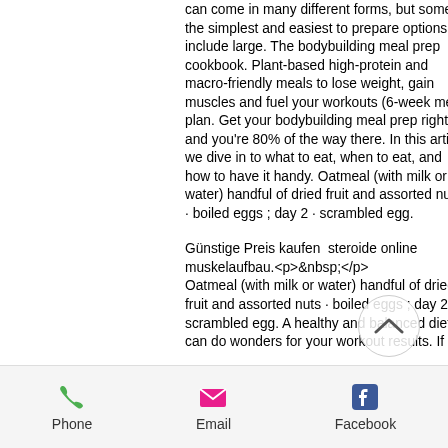can come in many different forms, but some of the simplest and easiest to prepare options include large. The bodybuilding meal prep cookbook. Plant-based high-protein and macro-friendly meals to lose weight, gain muscles and fuel your workouts (6-week meal plan. Get your bodybuilding meal prep right and you're 80% of the way there. In this article we dive in to what to eat, when to eat, and how to have it handy. Oatmeal (with milk or water) handful of dried fruit and assorted nuts · boiled eggs ; day 2 · scrambled egg.
Günstige Preis kaufen  steroide online muskelaufbau.<p>&nbsp;</p>
Oatmeal (with milk or water) handful of dried fruit and assorted nuts · boiled eggs ; day 2 · scrambled egg. A healthy and balanced diet can do wonders for your workout results. If
Phone   Email   Facebook